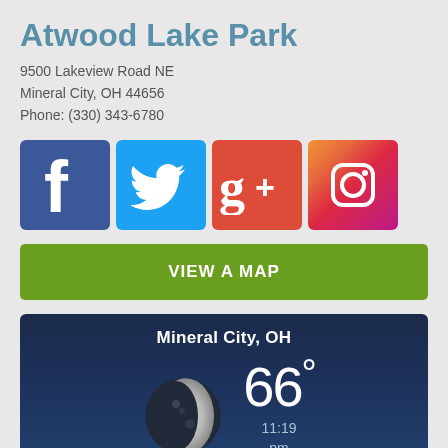Atwood Lake Park
9500 Lakeview Road NE
Mineral City, OH 44656
Phone: (330) 343-6780
[Figure (infographic): Four social media icons in a row: Facebook (blue), Twitter (light blue), Google+ (red), Instagram (gradient purple-orange). Each is a square icon with white logo.]
VIEW A MAP
[Figure (infographic): Weather widget with dark navy background showing Mineral City, OH. Moon phase image on left. Temperature 66° on right. Time shown: 11:19 pm EDT.]